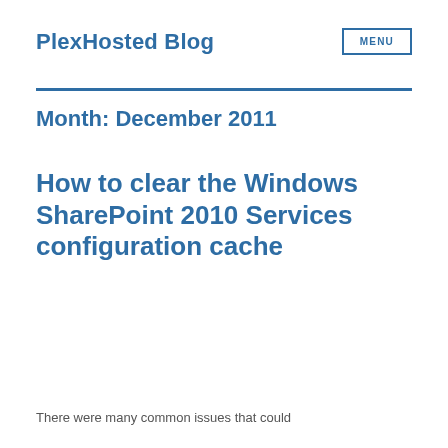PlexHosted Blog
Month: December 2011
How to clear the Windows SharePoint 2010 Services configuration cache
There were many common issues that could